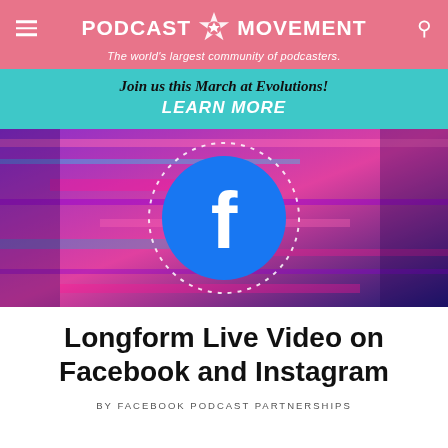PODCAST MOVEMENT — The world's largest community of podcasters.
Join us this March at Evolutions! LEARN MORE
[Figure (photo): Glitchy pink and blue abstract background with a large Facebook 'f' logo circle in the center, surrounded by a dotted ring pattern.]
Longform Live Video on Facebook and Instagram
BY FACEBOOK PODCAST PARTNERSHIPS